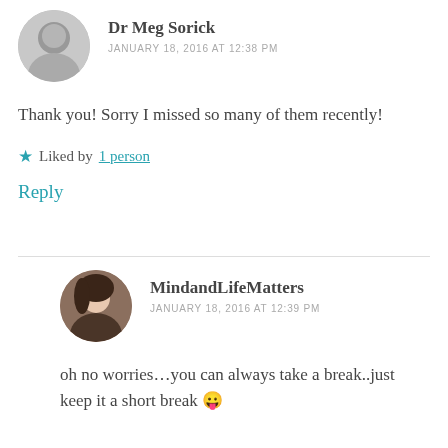[Figure (photo): Circular avatar photo of Dr Meg Sorick, black and white portrait]
Dr Meg Sorick
JANUARY 18, 2016 AT 12:38 PM
Thank you! Sorry I missed so many of them recently!
★ Liked by 1 person
Reply
[Figure (photo): Circular avatar photo of MindandLifeMatters, color portrait]
MindandLifeMatters
JANUARY 18, 2016 AT 12:39 PM
oh no worries…you can always take a break..just keep it a short break 😛